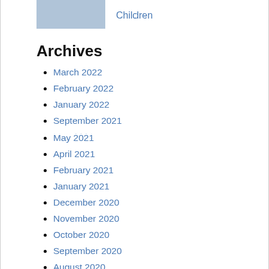[Figure (photo): Photo of person carrying moving boxes]
Children
Archives
March 2022
February 2022
January 2022
September 2021
May 2021
April 2021
February 2021
January 2021
December 2020
November 2020
October 2020
September 2020
August 2020
July 2020
June 2020